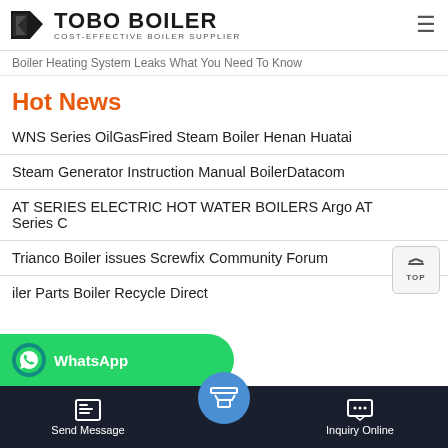TOBO BOILER - COST-EFFECTIVE BOILER SUPPLIER
Boiler Heating System Leaks What You Need To Know
Hot News
WNS Series OilGasFired Steam Boiler Henan Huatai
Steam Generator Instruction Manual BoilerDatacom
AT SERIES ELECTRIC HOT WATER BOILERS Argo AT Series C
Trianco Boiler issues Screwfix Community Forum
iler Parts Boiler Recycle Direct
Send Message | Inquiry Online